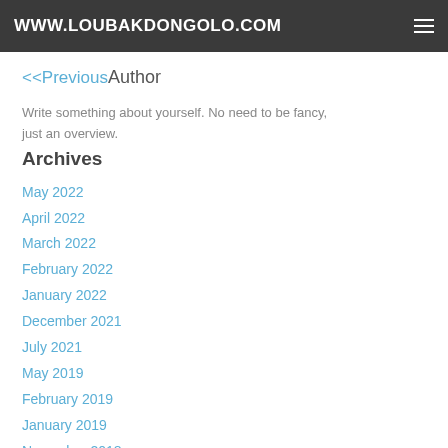WWW.LOUBAKDONGOLO.COM
<<PreviousAuthor
Write something about yourself. No need to be fancy, just an overview.
Archives
May 2022
April 2022
March 2022
February 2022
January 2022
December 2021
July 2021
May 2019
February 2019
January 2019
November 2018